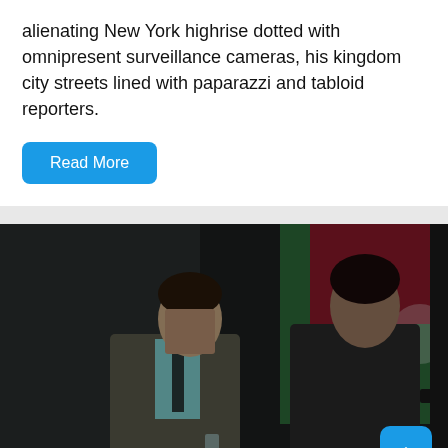alienating New York highrise dotted with omnipresent surveillance cameras, his kingdom city streets lined with paparazzi and tabloid reporters.
Read More
[Figure (photo): Two men in suits standing in a dimly lit scene with a green and red flag in the background. The man on the right is holding a gun. Both appear to be in a tense situation.]